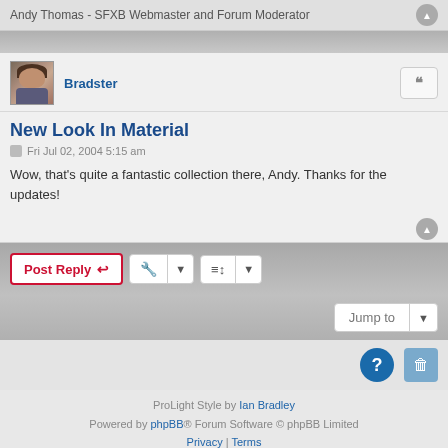Andy Thomas - SFXB Webmaster and Forum Moderator
Bradster
New Look In Material
Fri Jul 02, 2004 5:15 am
Wow, that's quite a fantastic collection there, Andy. Thanks for the updates!
ProLight Style by Ian Bradley
Powered by phpBB® Forum Software © phpBB Limited
Privacy | Terms